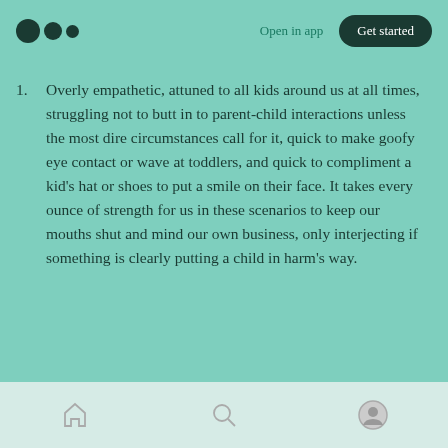Open in app  Get started
Overly empathetic, attuned to all kids around us at all times, struggling not to butt in to parent-child interactions unless the most dire circumstances call for it, quick to make goofy eye contact or wave at toddlers, and quick to compliment a kid's hat or shoes to put a smile on their face. It takes every ounce of strength for us in these scenarios to keep our mouths shut and mind our own business, only interjecting if something is clearly putting a child in harm's way.